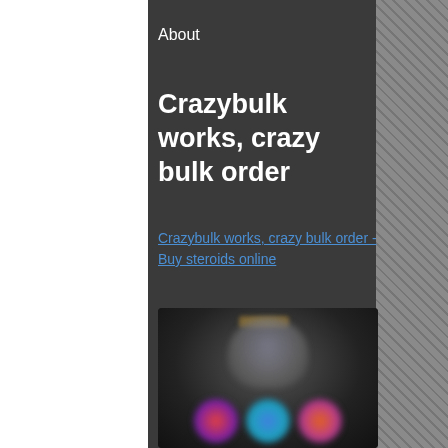About
Crazybulk works, crazy bulk order
Crazybulk works, crazy bulk order - Buy steroids online
[Figure (photo): Blurred promotional image showing a bodybuilder silhouette and product containers at the bottom]